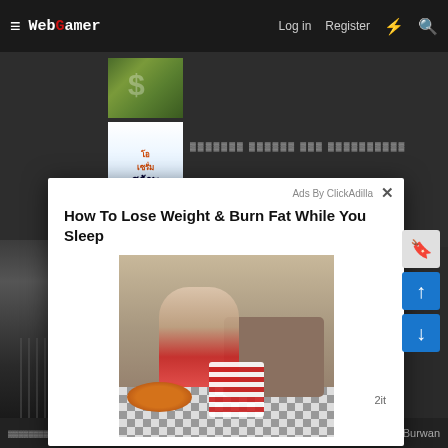WebGamer — Log in   Register
[Figure (screenshot): Screenshot of WebGamer website with navigation bar showing hamburger menu, WebGamer logo, Log in, Register links and icons]
[Figure (photo): Money/dollar bills image (advertisement thumbnail)]
[Figure (photo): Thai skincare advertisement showing a man and Thai text 'สต้าพ หน้า' with product bottles]
Thai language text (blurred advertisement text)
How To Lose Weight & Burn Fat While You Sleep
Ads By ClickAdilla
[Figure (photo): Woman sitting on couch eating pizza wearing red and white striped leggings, with pizza boxes and checkered floor]
2it
Burwan (footer navigation text)